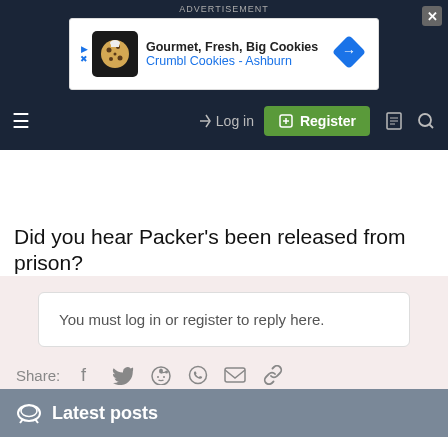[Figure (screenshot): Advertisement banner: Gourmet, Fresh, Big Cookies - Crumbl Cookies - Ashburn with cookie icon and navigation arrow]
Log in | Register navigation bar with hamburger menu, login button, register button, and search icon
Did you hear Packer's been released from prison?
You must log in or register to reply here.
Share: [social icons: Facebook, Twitter, Reddit, WhatsApp, Email, Link]
Latest posts
The Game - Future NRL Stadiums part II
Latest: Maximus · A moment ago
NRL